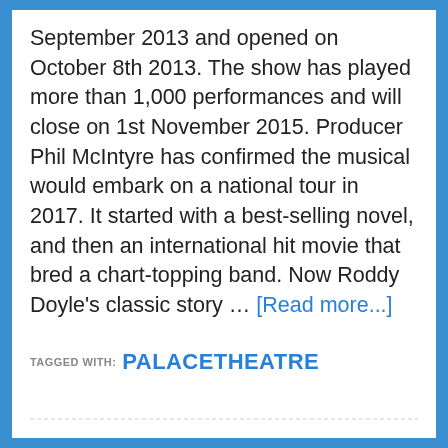September 2013 and opened on October 8th 2013. The show has played more than 1,000 performances and will close on 1st November 2015. Producer Phil McIntyre has confirmed the musical would embark on a national tour in 2017. It started with a best-selling novel, and then an international hit movie that bred a chart-topping band. Now Roddy Doyle's classic story … [Read more...]
TAGGED WITH: PALACETHEATRE